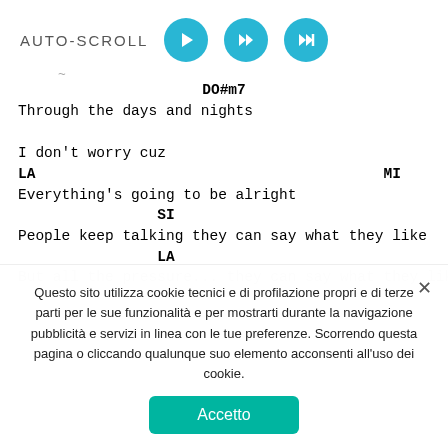AUTO-SCROLL
DO#m7
Through the days and nights
I don't worry cuz
LA                                        MI
Everything's going to be alright
SI                                     DO#m
People keep talking they can say what they like
LA                                        MI
But all the pressure...
Questo sito utilizza cookie tecnici e di profilazione propri e di terze parti per le sue funzionalità e per mostrarti durante la navigazione pubblicità e servizi in linea con le tue preferenze. Scorrendo questa pagina o cliccando qualunque suo elemento acconsenti all'uso dei cookie.
Accetto